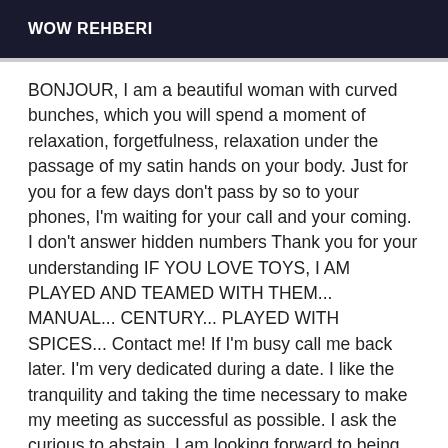WOW REHBERI
BONJOUR, I am a beautiful woman with curved bunches, which you will spend a moment of relaxation, forgetfulness, relaxation under the passage of my satin hands on your body. Just for you for a few days don't pass by so to your phones, I'm waiting for your call and your coming. I don't answer hidden numbers Thank you for your understanding IF YOU LOVE TOYS, I AM PLAYED AND TEAMED WITH THEM... MANUAL... CENTURY... PLAYED WITH SPICES... Contact me! If I'm busy call me back later. I'm very dedicated during a date. I like the tranquility and taking the time necessary to make my meeting as successful as possible. I ask the curious to abstain. I am looking forward to being with you for a delicious recreation. For more information do not hesitate to contact me, only serious men, all and protect nothing natural, my photo is 100 real request no photo not that my ad and already checked, thank you for